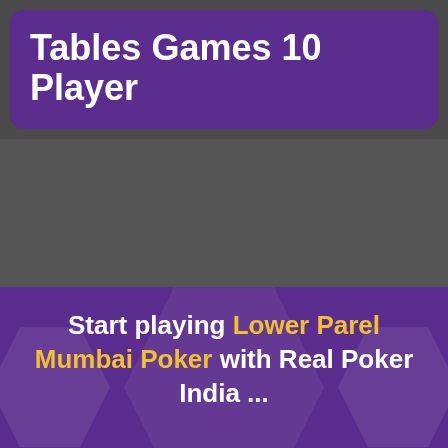Tables Games 10 Player
[Figure (other): Gray placeholder area for an image or video]
Start playing Lower Parel Mumbai Poker with Real Poker India ...
[Figure (other): White rounded bar at bottom]